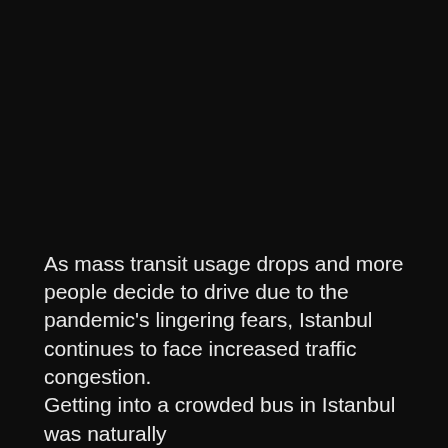As mass transit usage drops and more people decide to drive due to the pandemic's lingering fears, Istanbul continues to face increased traffic congestion.
Getting into a crowded bus in Istanbul was naturally